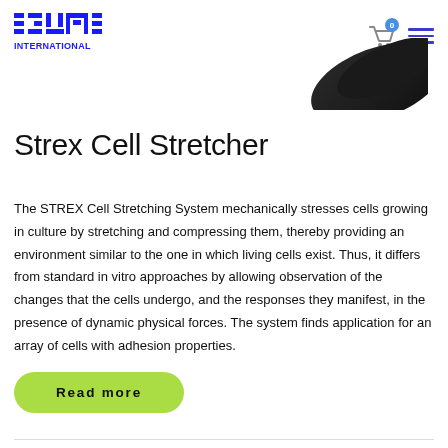IZUMI INTERNATIONAL — navigation header with logo, cart (0), and hamburger menu
[Figure (photo): Partial view of a dark-colored wedge-shaped device component against a white background, visible in the upper-right area of the page]
Strex Cell Stretcher
The STREX Cell Stretching System mechanically stresses cells growing in culture by stretching and compressing them, thereby providing an environment similar to the one in which living cells exist. Thus, it differs from standard in vitro approaches by allowing observation of the changes that the cells undergo, and the responses they manifest, in the presence of dynamic physical forces. The system finds application for an array of cells with adhesion properties.
Read more